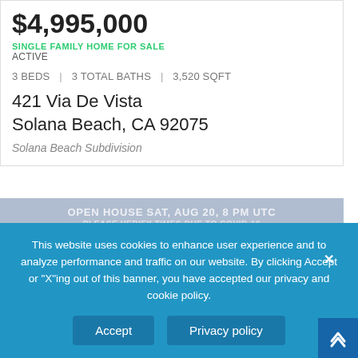$4,995,000
SINGLE FAMILY HOME FOR SALE
ACTIVE
3 BEDS | 3 TOTAL BATHS | 3,520 SQFT
421 Via De Vista
Solana Beach, CA 92075
Solana Beach Subdivision
OPEN HOUSE SAT, AUG 20, 8 PM UTC
PLEASE VERIFY TIMES DUE TO COVID-19
[Figure (photo): Property photo placeholder with watermark icon]
This website uses cookies to enhance user experience and to analyze performance and traffic on our website. By clicking Accept or "X"ing out of this banner, you have accepted our privacy and cookie policy.